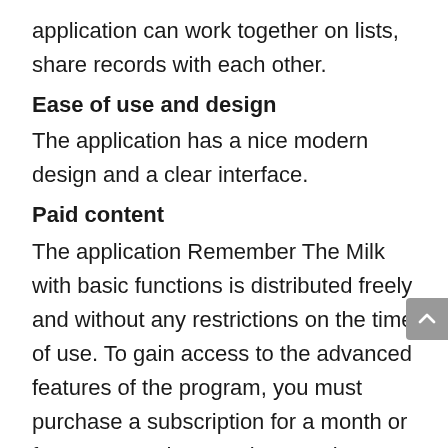application can work together on lists, share records with each other.
Ease of use and design
The application has a nice modern design and a clear interface.
Paid content
The application Remember The Milk with basic functions is distributed freely and without any restrictions on the time of use. To gain access to the advanced features of the program, you must purchase a subscription for a month or for a year. In the Premium version, SMS-informing of the user is connected, there are widgets, restrictions are removed from the number of subtasks, participants of joint viewing and editing of records, etc.